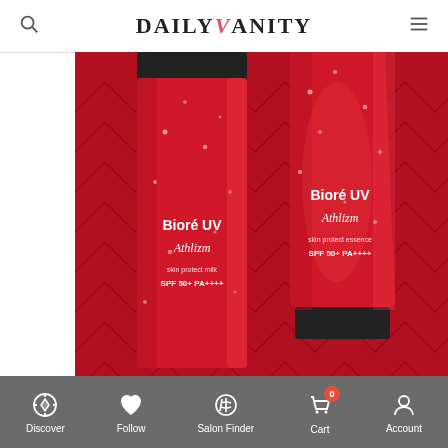DAILY VANITY — navigation header with search and menu icons
[Figure (photo): Two red Bioré UV Athlizm sunscreen products — a Skin Protect Milk SPF50+ PA++++ and a Skin Protect Essence SPF50+ PA++++ — placed on a red chevron-patterned background with water droplets on the tubes.]
Discover | Follow | Salon Finder | Cart (0) | Account